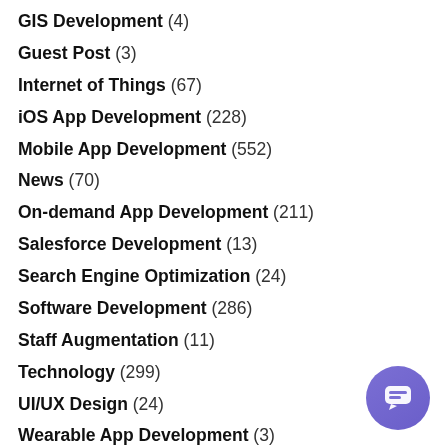GIS Development (4)
Guest Post (3)
Internet of Things (67)
iOS App Development (228)
Mobile App Development (552)
News (70)
On-demand App Development (211)
Salesforce Development (13)
Search Engine Optimization (24)
Software Development (286)
Staff Augmentation (11)
Technology (299)
UI/UX Design (24)
Wearable App Development (3)
[Figure (illustration): Purple circular chat button in bottom-right corner]